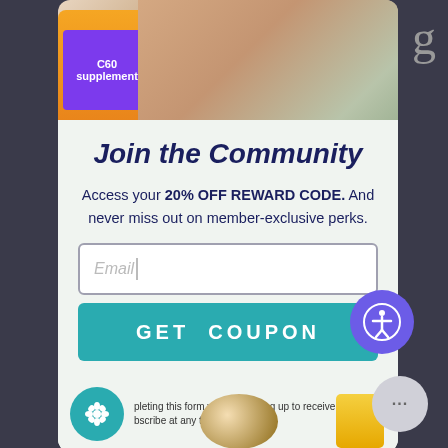[Figure (photo): Top banner image showing an older couple and a supplement product bottle (C60) with orange/purple label]
Join the Community
Access your 20% OFF REWARD CODE. And never miss out on member-exclusive perks.
Email (input field placeholder)
GET  COUPON (button)
By completing this form you are signing up to receive our emails and you can unsubscribe at any time.